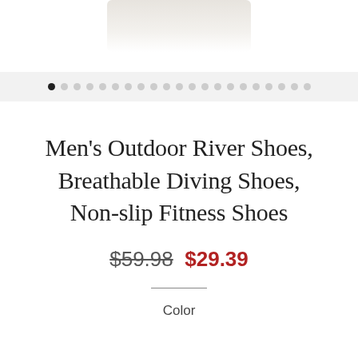[Figure (photo): Partial product image at top of page, partially cropped]
[Figure (other): Image carousel navigation dots, first dot filled/active, remaining 20 dots unfilled grey]
Men's Outdoor River Shoes, Breathable Diving Shoes, Non-slip Fitness Shoes
$59.98  $29.39
Color